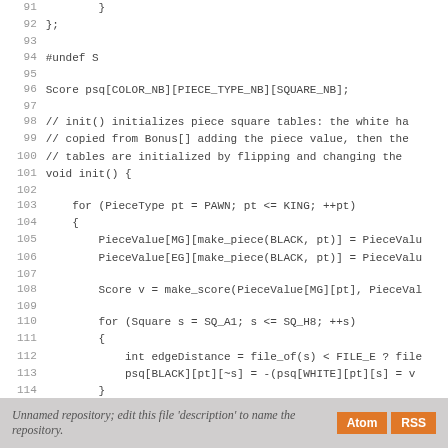Code listing lines 91-118 showing C++ piece-square table initialization code
Unnamed repository; edit this file 'description' to name the repository.